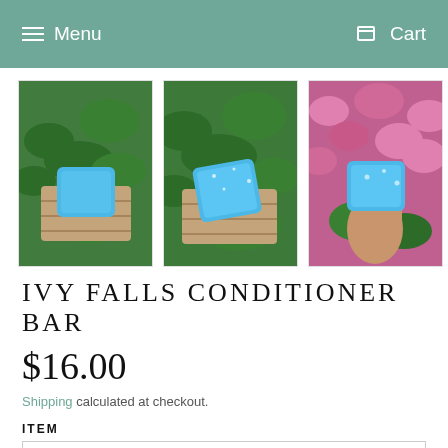Menu   Cart
[Figure (photo): Three product photos of a blue conditioner bar. Left: bar on wooden soap dish on green plants. Center: bar on wooden soap dish with glitter, green plants. Right: hand holding bar against pink flowers.]
IVY FALLS CONDITIONER BAR
$16.00
Shipping calculated at checkout.
ITEM
CONDITIONER BAR ONLY
Quantity
- 1 +